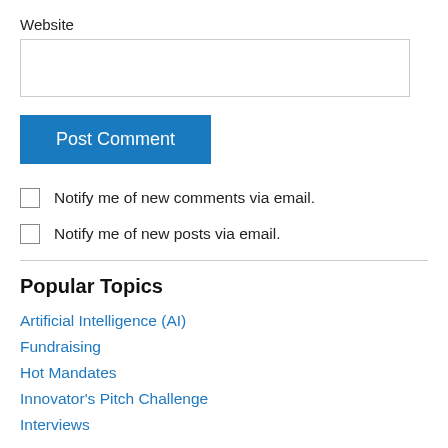Website
Post Comment
Notify me of new comments via email.
Notify me of new posts via email.
Popular Topics
Artificial Intelligence (AI)
Fundraising
Hot Mandates
Innovator's Pitch Challenge
Interviews